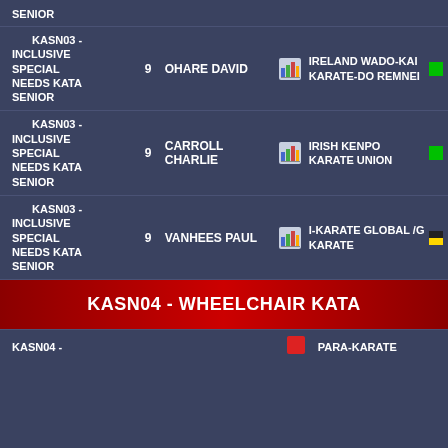SENIOR
KASN03 - INCLUSIVE SPECIAL NEEDS KATA SENIOR | 9 | OHARE DAVID | IRELAND WADO-KAI KARATE-DO REMNEI
KASN03 - INCLUSIVE SPECIAL NEEDS KATA SENIOR | 9 | CARROLL CHARLIE | IRISH KENPO KARATE UNION
KASN03 - INCLUSIVE SPECIAL NEEDS KATA SENIOR | 9 | VANHEES PAUL | I-KARATE GLOBAL /G KARATE
KASN04 - WHEELCHAIR KATA
KASN04 - | PARA-KARATE